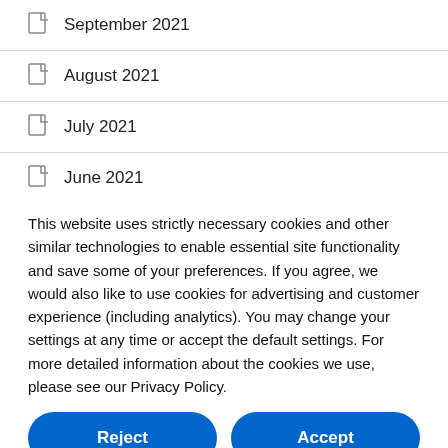September 2021
August 2021
July 2021
June 2021
May 2021
This website uses strictly necessary cookies and other similar technologies to enable essential site functionality and save some of your preferences. If you agree, we would also like to use cookies for advertising and customer experience (including analytics). You may change your settings at any time or accept the default settings. For more detailed information about the cookies we use, please see our Privacy Policy.
Reject
Accept
Learn more and customise